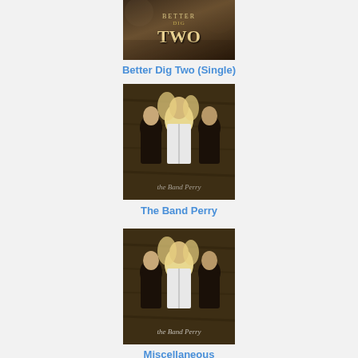[Figure (photo): Better Dig Two single cover art - dark brown/sepia toned with text overlay]
Better Dig Two (Single)
[Figure (photo): The Band Perry album cover - three band members, dark rustic background, cursive The Band Perry text]
The Band Perry
[Figure (photo): Miscellaneous - The Band Perry album cover variant - same three band members image]
Miscellaneous
[Figure (photo): Partial view of another Band Perry album cover at bottom of page]